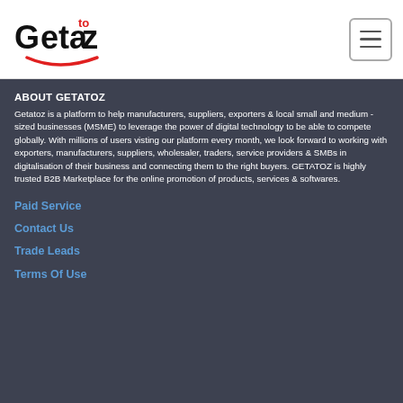[Figure (logo): Getatoz logo — stylized text 'Geta to z' with red superscript 'to', black letters, and a red smile arc beneath]
ABOUT GETATOZ
Getatoz is a platform to help manufacturers, suppliers, exporters & local small and medium - sized businesses (MSME) to leverage the power of digital technology to be able to compete globally. With millions of users visting our platform every month, we look forward to working with exporters, manufacturers, suppliers, wholesaler, traders, service providers & SMBs in digitalisation of their business and connecting them to the right buyers. GETATOZ is highly trusted B2B Marketplace for the online promotion of products, services & softwares.
Paid Service
Contact Us
Trade Leads
Terms Of Use